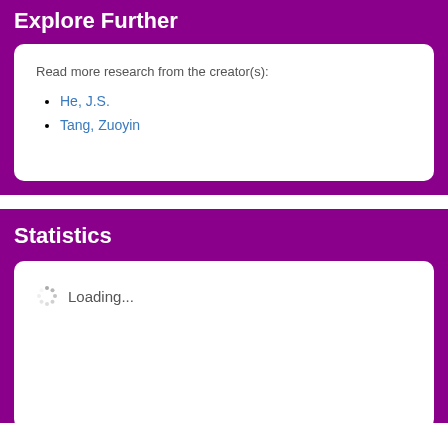Explore Further
Read more research from the creator(s):
He, J.S.
Tang, Zuoyin
Statistics
Loading...